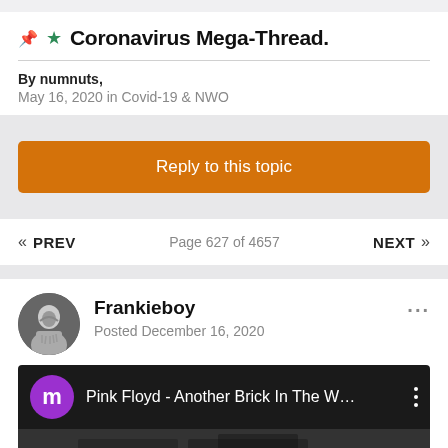Coronavirus Mega-Thread.
By numnuts,
May 16, 2020 in Covid-19 & NWO
Reply to this topic
« PREV   Page 627 of 4657   NEXT »
Frankieboy
Posted December 16, 2020
[Figure (screenshot): YouTube video embed showing 'Pink Floyd - Another Brick In The W...' with purple channel icon 'm' and dark background thumbnail]